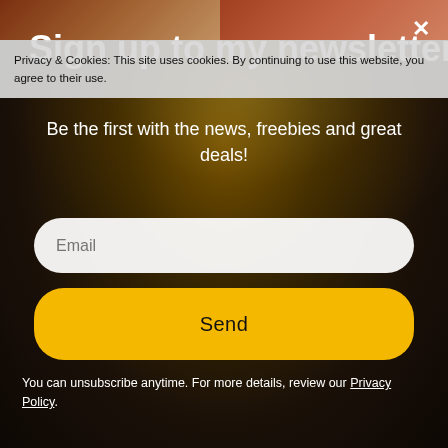[Figure (screenshot): Top strip showing food/dessert images on dark background]
Privacy & Cookies: This site uses cookies. By continuing to use this website, you agree to their use.
Sign up to my newsletter
Be the first with the news, freebies and great deals!
[Figure (photo): Dark background with golden sparkle light effect and chocolate treats]
Email
Send
You can unsubscribe anytime. For more details, review our Privacy Policy.